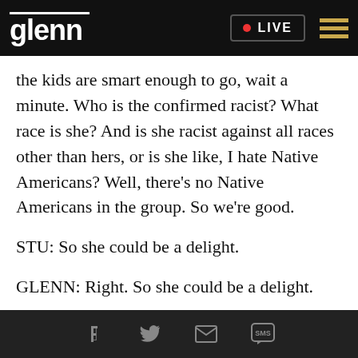glenn • LIVE
the kids are smart enough to go, wait a minute. Who is the confirmed racist? What race is she? And is she racist against all races other than hers, or is she like, I hate Native Americans? Well, there's no Native Americans in the group. So we're good.
STU: So she could be a delight.
GLENN: Right. So she could be a delight.
STU: So it's interesting. You mentioned the black nationalist. Black militant. I believe
[social share icons: Facebook, Twitter, Email, SMS]